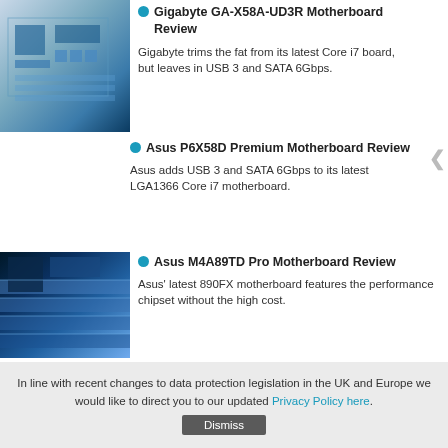Gigabyte GA-X58A-UD3R Motherboard Review
Gigabyte trims the fat from its latest Core i7 board, but leaves in USB 3 and SATA 6Gbps.
Asus P6X58D Premium Motherboard Review
Asus adds USB 3 and SATA 6Gbps to its latest LGA1366 Core i7 motherboard.
Asus M4A89TD Pro Motherboard Review
Asus' latest 890FX motherboard features the performance chipset without the high cost.
AMD Phenom II X6 1090T Black Edition
Intel was first to six-core, but AMD's six-core Thuban CPU is £600 cheaper. Is it any good?
In line with recent changes to data protection legislation in the UK and Europe we would like to direct you to our updated Privacy Policy here.